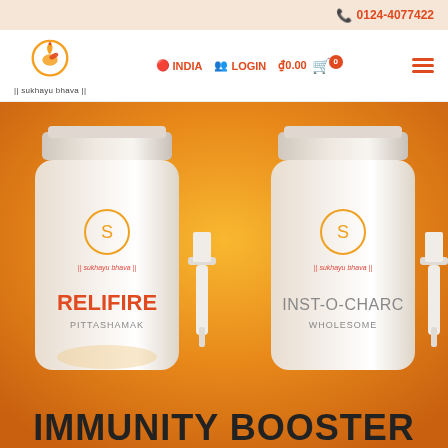0124-4077422
[Figure (logo): Sukhayu Bhava logo - circular swan/leaf design with text below]
INDIA  LOGIN  ₫0.00  0
[Figure (photo): Product photo showing white bottles/jars labeled RELIFIRE PITTASHAMAK and INST-O-CHARGE WHOLESOME on orange gradient background]
IMMUNITY BOOSTER